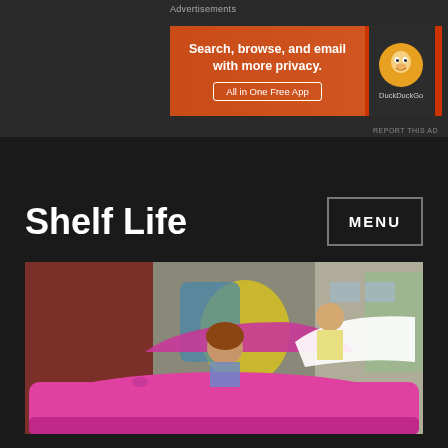Advertisements
[Figure (screenshot): DuckDuckGo advertisement banner: orange background with text 'Search, browse, and email with more privacy. All in One Free App' and DuckDuckGo logo]
Shelf Life
[Figure (photo): Woman in a bright pink vintage convertible car with graffiti wall in the background]
Tag: Unsettled